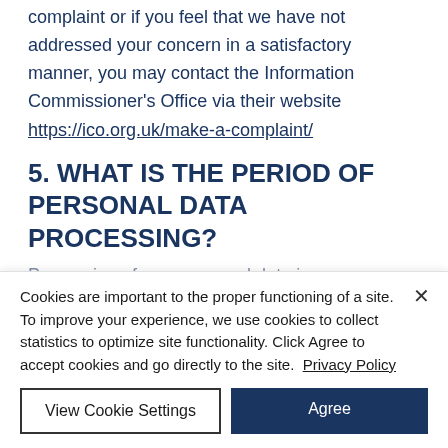complaint or if you feel that we have not addressed your concern in a satisfactory manner, you may contact the Information Commissioner's Office via their website https://ico.org.uk/make-a-complaint/
5. WHAT IS THE PERIOD OF PERSONAL DATA PROCESSING?
Processing of your personal data is
Cookies are important to the proper functioning of a site. To improve your experience, we use cookies to collect statistics to optimize site functionality. Click Agree to accept cookies and go directly to the site. Privacy Policy
View Cookie Settings
Agree